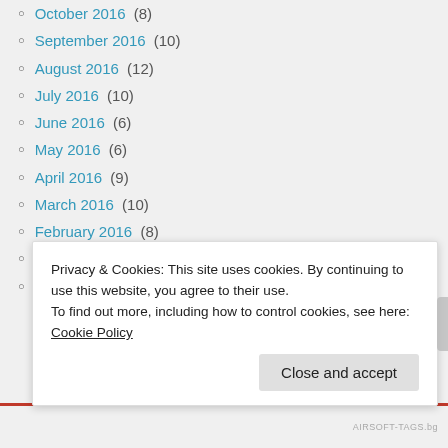October 2016 (8)
September 2016 (10)
August 2016 (12)
July 2016 (10)
June 2016 (6)
May 2016 (6)
April 2016 (9)
March 2016 (10)
February 2016 (8)
January 2016 (11)
December 2015 (12)
Privacy & Cookies: This site uses cookies. By continuing to use this website, you agree to their use. To find out more, including how to control cookies, see here: Cookie Policy
AIRSOFT-TAGS.bg